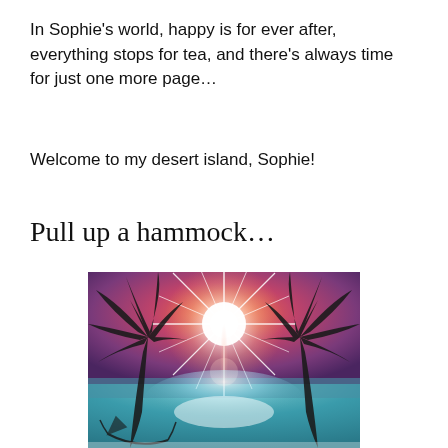In Sophie's world, happy is for ever after, everything stops for tea, and there's always time for just one more page…
Welcome to my desert island, Sophie!
Pull up a hammock…
[Figure (illustration): Tropical sunset desert island illustration with two palm tree silhouettes on either side, a bright starburst sun in a gradient sky of orange and purple, a glowing reflection on turquoise water below, and a hammock silhouette at the bottom left.]